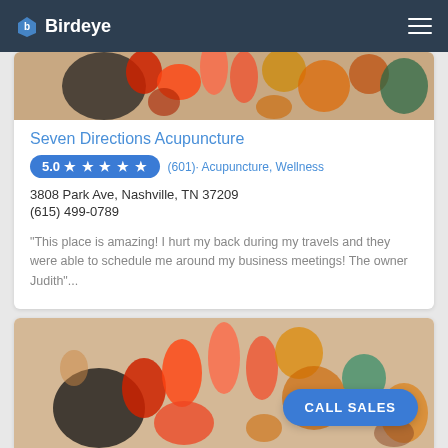Birdeye
[Figure (photo): Food/fruit bowl photo at top of listing card - colorful fruits and vegetables]
Seven Directions Acupuncture
5.0 ★ ★ ★ ★ ★ (601) · Acupuncture, Wellness
3808 Park Ave, Nashville, TN 37209
(615) 499-0789
"This place is amazing! I hurt my back during my travels and they were able to schedule me around my business meetings! The owner Judith"...
[Figure (photo): Food/fruit bowl photo at bottom listing card - colorful fruits, oranges, strawberries, vegetables]
CALL SALES